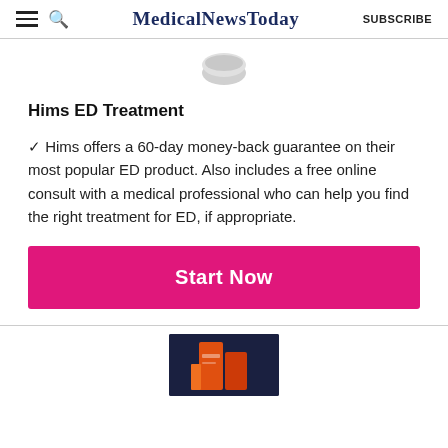MedicalNewsToday SUBSCRIBE
[Figure (photo): Partial product image at top of card, showing bottom portion of a pill/capsule container on white background]
Hims ED Treatment
✓ Hims offers a 60-day money-back guarantee on their most popular ED product. Also includes a free online consult with a medical professional who can help you find the right treatment for ED, if appropriate.
[Figure (photo): Pink/magenta 'Start Now' call-to-action button]
[Figure (photo): Partial product photo at bottom showing orange and dark packaging on dark navy background]